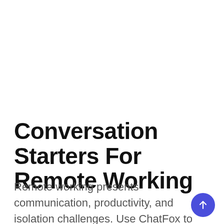Conversation Starters For Remote Working
Remote working presents communication, productivity, and isolation challenges. Use ChatFox to increase remote employee engagement by getting the conversation